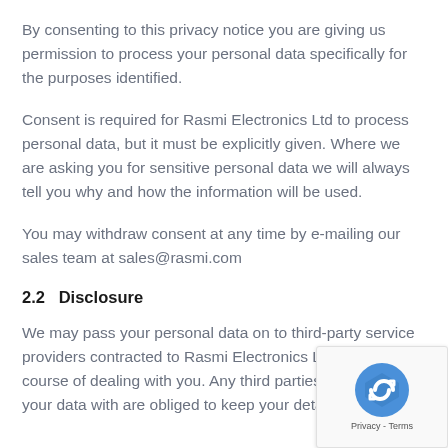By consenting to this privacy notice you are giving us permission to process your personal data specifically for the purposes identified.
Consent is required for Rasmi Electronics Ltd to process personal data, but it must be explicitly given. Where we are asking you for sensitive personal data we will always tell you why and how the information will be used.
You may withdraw consent at any time by e-mailing our sales team at sales@rasmi.com
2.2   Disclosure
We may pass your personal data on to third-party service providers contracted to Rasmi Electronics Ltd in the course of dealing with you. Any third parties that we share your data with are obliged to keep your details...